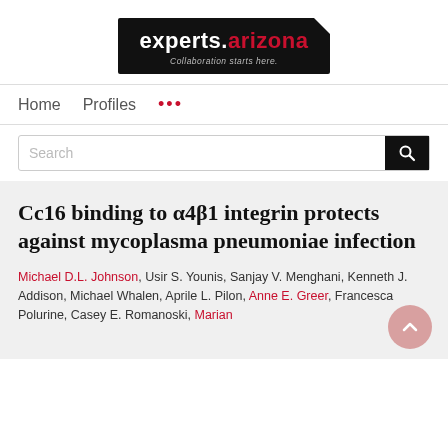[Figure (logo): experts.arizona logo — black background with white 'experts.' and red 'arizona' text, tagline 'Collaboration starts here.']
Home   Profiles   ...
Search
Cc16 binding to α4β1 integrin protects against mycoplasma pneumoniae infection
Michael D.L. Johnson, Usir S. Younis, Sanjay V. Menghani, Kenneth J. Addison, Michael Whalen, Aprile L. Pilon, Anne E. Greer, Francesca Polurine, Casey E. Romanoski, Marian...